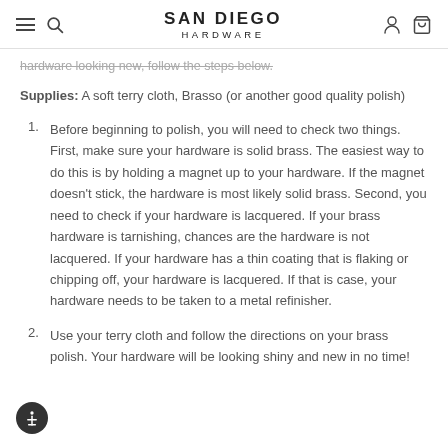SAN DIEGO HARDWARE
hardware looking new, follow the steps below.
Supplies: A soft terry cloth, Brasso (or another good quality polish)
Before beginning to polish, you will need to check two things. First, make sure your hardware is solid brass. The easiest way to do this is by holding a magnet up to your hardware. If the magnet doesn’t stick, the hardware is most likely solid brass. Second, you need to check if your hardware is lacquered. If your brass hardware is tarnishing, chances are the hardware is not lacquered. If your hardware has a thin coating that is flaking or chipping off, your hardware is lacquered. If that is case, your hardware needs to be taken to a metal refinisher.
Use your terry cloth and follow the directions on your brass polish. Your hardware will be looking shiny and new in no time!